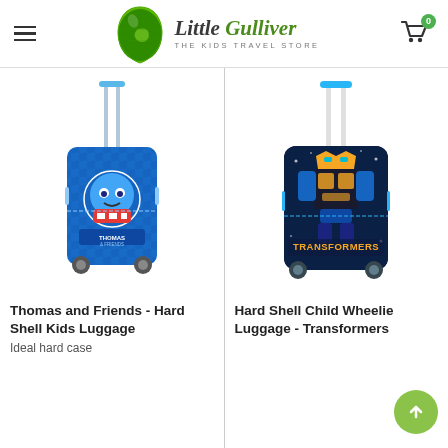Little Gulliver - The Kids Travel Store
[Figure (photo): Thomas and Friends Hard Shell Kids Luggage - blue Thomas the Tank Engine themed hard shell wheeled suitcase with telescoping handle]
Thomas and Friends - Hard Shell Kids Luggage
Ideal hard case
[Figure (photo): Hard Shell Child Wheelie Luggage Transformers - dark blue Transformers themed hard shell wheeled suitcase with telescoping handle and blue accents]
Hard Shell Child Wheelie Luggage - Transformers